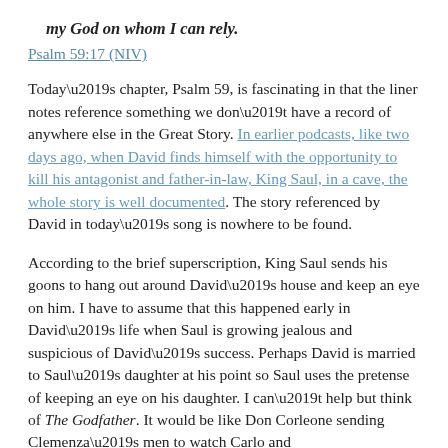my God on whom I can rely.
Psalm 59:17 (NIV)
Today’s chapter, Psalm 59, is fascinating in that the liner notes reference something we don’t have a record of anywhere else in the Great Story. In earlier podcasts, like two days ago, when David finds himself with the opportunity to kill his antagonist and father-in-law, King Saul, in a cave, the whole story is well documented. The story referenced by David in today’s song is nowhere to be found.
According to the brief superscription, King Saul sends his goons to hang out around David’s house and keep an eye on him. I have to assume that this happened early in David’s life when Saul is growing jealous and suspicious of David’s success. Perhaps David is married to Saul’s daughter at his point so Saul uses the pretense of keeping an eye on his daughter. I can’t help but think of The Godfather. It would be like Don Corleone sending Clemenza’s men to watch Carlo and